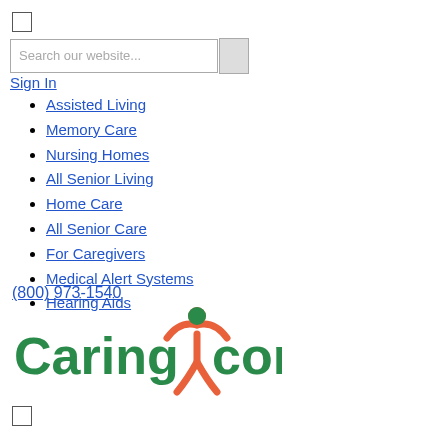[Figure (other): Checkbox (unchecked) UI element]
[Figure (screenshot): Search input field with placeholder text 'Search our website...' and a search button]
Sign In
Assisted Living
Memory Care
Nursing Homes
All Senior Living
Home Care
All Senior Care
For Caregivers
Medical Alert Systems
Hearing Aids
(800) 973-1540
[Figure (logo): Caring.com logo with green text and orange figure icon]
[Figure (other): Checkbox (unchecked) UI element]